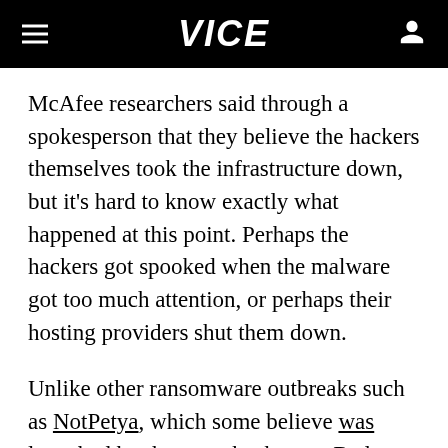VICE
McAfee researchers said through a spokesperson that they believe the hackers themselves took the infrastructure down, but it's hard to know exactly what happened at this point. Perhaps the hackers got spooked when the malware got too much attention, or perhaps their hosting providers shut them down.
Unlike other ransomware outbreaks such as NotPetya, which some believe was launched by the same hackers as Bad Rabbit, this one appears to have had limited impact. Cost...